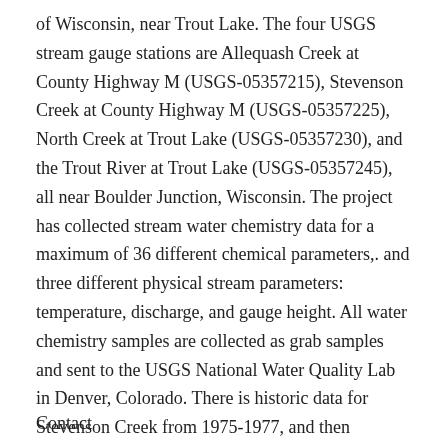of Wisconsin, near Trout Lake. The four USGS stream gauge stations are Allequash Creek at County Highway M (USGS-05357215), Stevenson Creek at County Highway M (USGS-05357225), North Creek at Trout Lake (USGS-05357230), and the Trout River at Trout Lake (USGS-05357245), all near Boulder Junction, Wisconsin. The project has collected stream water chemistry data for a maximum of 36 different chemical parameters,. and three different physical stream parameters: temperature, discharge, and gauge height. All water chemistry samples are collected as grab samples and sent to the USGS National Water Quality Lab in Denver, Colorado. There is historic data for Stevenson Creek from 1975-1977, and then beginning again in 1991. The Trout Lake WEBB project began during the summer of 1991 and sampling of all four sites continues to date.
Contact